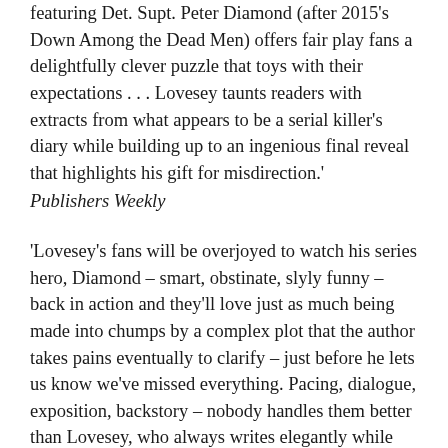featuring Det. Supt. Peter Diamond (after 2015's Down Among the Dead Men) offers fair play fans a delightfully clever puzzle that toys with their expectations . . . Lovesey taunts readers with extracts from what appears to be a serial killer's diary while building up to an ingenious final reveal that highlights his gift for misdirection.'
Publishers Weekly
'Lovesey's fans will be overjoyed to watch his series hero, Diamond – smart, obstinate, slyly funny – back in action and they'll love just as much being made into chumps by a complex plot that the author takes pains eventually to clarify – just before he lets us know we've missed everything. Pacing, dialogue, exposition, backstory – nobody handles them better than Lovesey, who always writes elegantly while spinning a tough-minded police procedural.'
Booklist